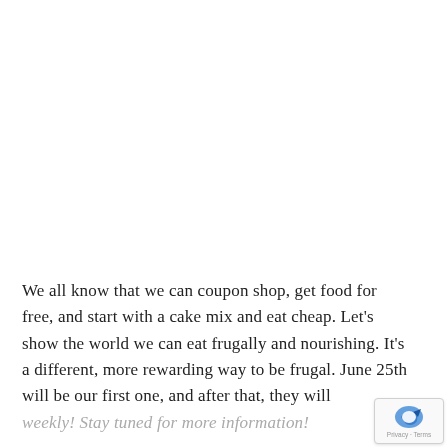We all know that we can coupon shop, get food for free, and start with a cake mix and eat cheap. Let's show the world we can eat frugally and nourishing. It's a different, more rewarding way to be frugal. June 25th will be our first one, and after that, they will weekly! Stay tuned for more information!